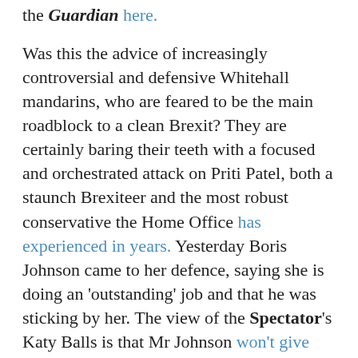the Guardian here.
Was this the advice of increasingly controversial and defensive Whitehall mandarins, who are feared to be the main roadblock to a clean Brexit? They are certainly baring their teeth with a focused and orchestrated attack on Priti Patel, both a staunch Brexiteer and the most robust conservative the Home Office has experienced in years. Yesterday Boris Johnson came to her defence, saying she is doing an 'outstanding' job and that he was sticking by her. The view of the Spectator's Katy Balls is that Mr Johnson won't give her up without a fight.
But Rachel Sylvester of the Times thinks that 'instead of scrapping with civil servants, the government should realise it can't implement its manifesto without them.' She thinks ministers